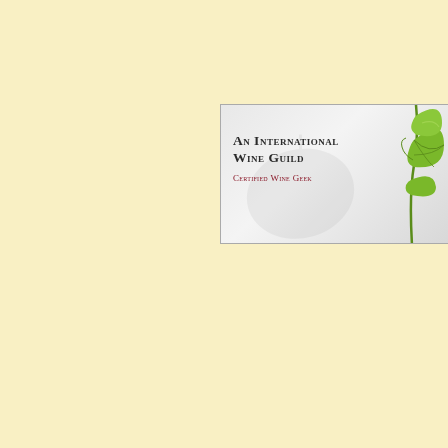[Figure (logo): An International Wine Guild – Certified Wine Geek logo. White/grey background with green vine leaf and stem on the right side. Text reads 'An International Wine Guild' in dark small-caps serif font and 'Certified Wine Geek' in dark red small-caps below.]
[Figure (logo): Cooking Matters logo on white background. Green circular swirl icon resembling an apple/spiral on the left. 'COOKING' in bold green uppercase and 'MATTERS' in bold grey uppercase with registered trademark symbol.]